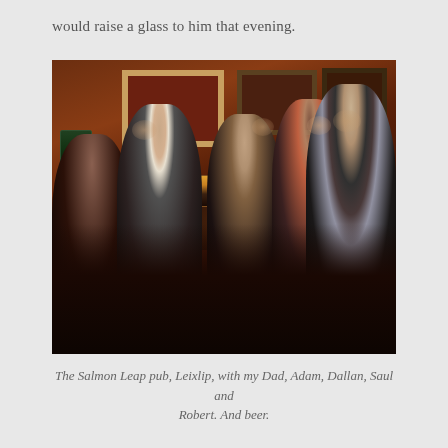would raise a glass to him that evening.
[Figure (photo): Group of five people seated around a pub table with pints of dark beer. Taken inside a warmly lit traditional Irish pub with framed pictures on the wall. From left to right: an older man, a young man in a white t-shirt, two younger people, a woman in red, and an older man in a blazer.]
The Salmon Leap pub, Leixlip, with my Dad, Adam, Dallan, Saul and Robert. And beer.